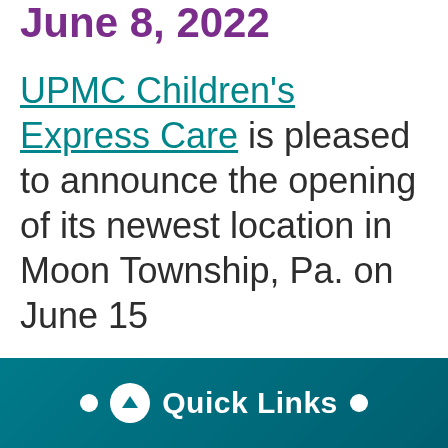June 8, 2022
UPMC Children's Express Care is pleased to announce the opening of its newest location in Moon Township, Pa. on June 15
Quick Links